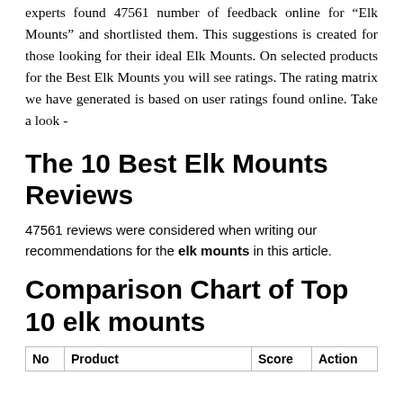experts found 47561 number of feedback online for "Elk Mounts" and shortlisted them. This suggestions is created for those looking for their ideal Elk Mounts. On selected products for the Best Elk Mounts you will see ratings. The rating matrix we have generated is based on user ratings found online. Take a look -
The 10 Best Elk Mounts Reviews
47561 reviews were considered when writing our recommendations for the elk mounts in this article.
Comparison Chart of Top 10 elk mounts
| No | Product | Score | Action |
| --- | --- | --- | --- |